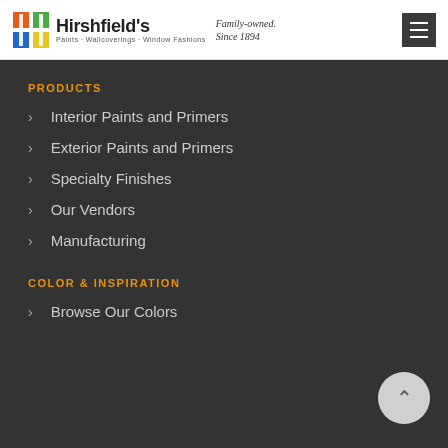[Figure (logo): Hirshfield's logo with colorful H icon, company name, tagline 'Paints · Wallcoverings · Window Fashions', and 'Family-owned. Since 1894' in italic]
PRODUCTS
Interior Paints and Primers
Exterior Paints and Primers
Specialty Finishes
Our Vendors
Manufacturing
COLOR & INSPIRATION
Browse Our Colors